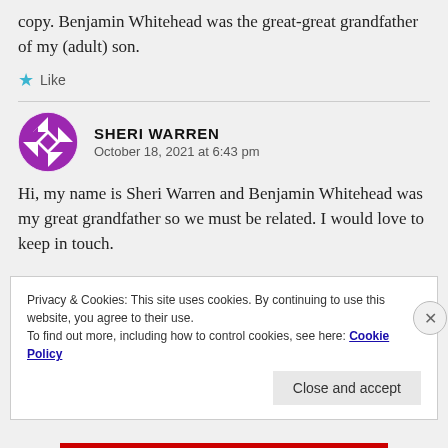copy. Benjamin Whitehead was the great-great grandfather of my (adult) son.
Like
SHERI WARREN
October 18, 2021 at 6:43 pm
Hi, my name is Sheri Warren and Benjamin Whitehead was my great grandfather so we must be related. I would love to keep in touch.
Privacy & Cookies: This site uses cookies. By continuing to use this website, you agree to their use.
To find out more, including how to control cookies, see here: Cookie Policy
Close and accept